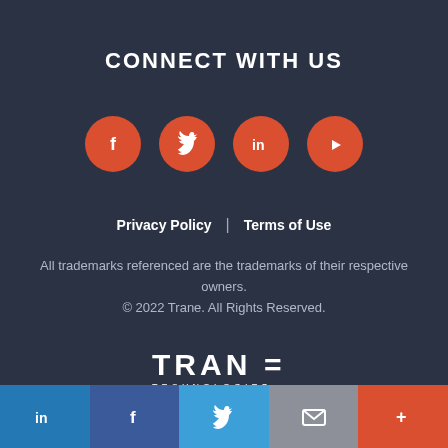CONNECT WITH US
[Figure (illustration): Four orange circular social media icons: Facebook (f), Twitter (bird), LinkedIn (in), YouTube (play button)]
Privacy Policy  |  Terms of Use
All trademarks referenced are the trademarks of their respective owners.
© 2022 Trane. All Rights Reserved.
[Figure (logo): Trane Technologies logo in white text]
LinkedIn | Facebook | Twitter | Email | More